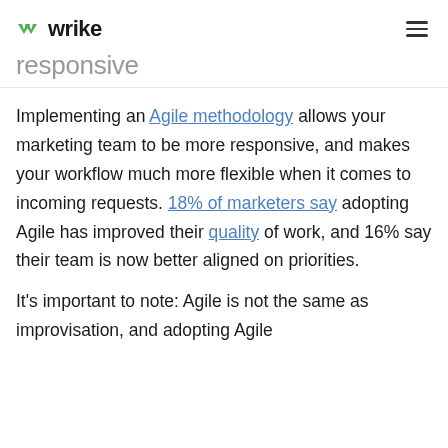wrike
responsive
Implementing an Agile methodology allows your marketing team to be more responsive, and makes your workflow much more flexible when it comes to incoming requests. 18% of marketers say adopting Agile has improved their quality of work, and 16% say their team is now better aligned on priorities.
It's important to note: Agile is not the same as improvisation, and adopting Agile